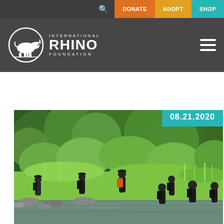DONATE | ADOPT | SHOP
[Figure (logo): International Rhino Foundation logo with rhino silhouette in a circle and text INTERNATIONAL RHINO FOUNDATION]
[Figure (photo): Group of people in dark clothing with backpacks crossing a shallow river in a lush green jungle/forest setting. Date badge shows 08.21.2020 in teal color on upper right of photo.]